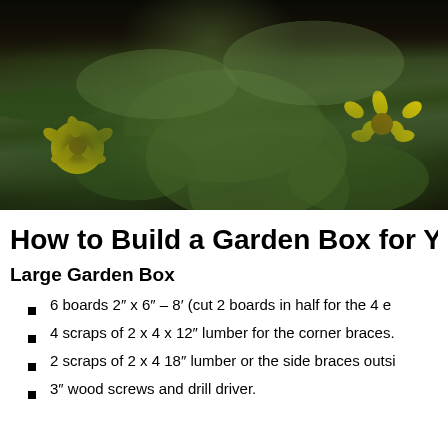[Figure (photo): Photograph of a garden with yellow flowers and green leafy plants against dark soil background.]
How to Build a Garden Box for Y
Large Garden Box
6 boards 2″ x 6″ – 8′ (cut 2 boards in half for the 4 e
4 scraps of 2 x 4 x 12″ lumber for the corner braces.
2 scraps of 2 x 4 18″ lumber or the side braces outsi
3″ wood screws and drill driver.